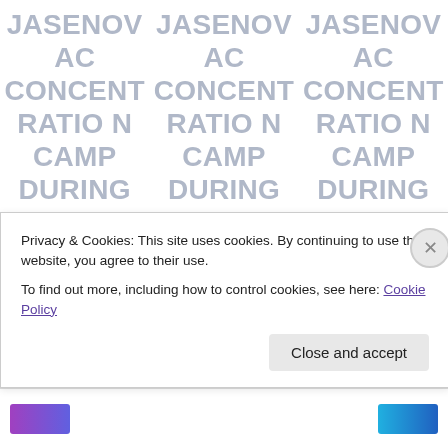JASENOVAC CONCENTRATION CAMP DURING THE WW2 NAZI HOLOCAUST YEARS NOW ON DISPLAY AT THE CRIME THROUGH TIME COLLECTION, LITTLEDEAN JAIL
JASENOVAC CONCENTRATION CAMP DURING THE WW2 NAZI HOLOCAUST YEARS NOW ON DISPLAY AT THE CRIME THROUGH TIME COLLECTION, LITTLEDEAN JAIL
JASENOVAC CONCENTRATION CAMP DURING THE WW2 NAZI HOLOCAUST YEARS NOW ON DISPLAY AT THE CRIME THROUGH TIME COLLECTION, LITTLEDEAN JAIL
Privacy & Cookies: This site uses cookies. By continuing to use this website, you agree to their use.
To find out more, including how to control cookies, see here: Cookie Policy
Close and accept